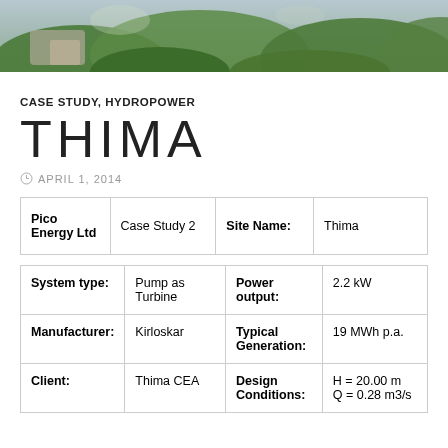[Figure (photo): Aerial/landscape photo of a hydropower site with lush green vegetation and some rocky/structural elements visible]
CASE STUDY, HYDROPOWER
THIMA
APRIL 1, 2014
| Pico Energy Ltd | Case Study 2 | Site Name: | Thima |
| --- | --- | --- | --- |
| System type: | Pump as Turbine | Power output: | 2.2 kW |
| Manufacturer: | Kirloskar | Typical Generation: | 19 MWh p.a. |
| Client: | Thima CEA | Design Conditions: | H = 20.00 m
Q = 0.28 m3/s |